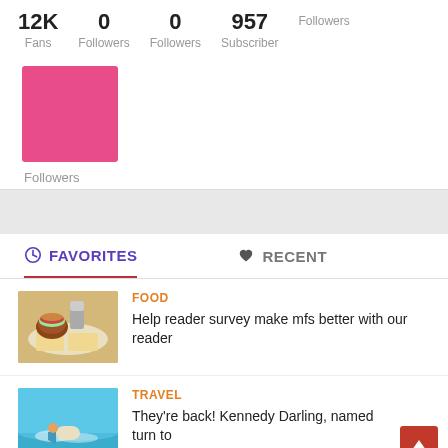12K Fans
0 Followers
0 Followers
957 Subscriber
Followers
[Figure (illustration): Pink/magenta square thumbnail image]
Followers
FAVORITES
RECENT
[Figure (photo): Food photo showing burger and fries on a plate]
FOOD
Help reader survey make mfs better with our reader
[Figure (photo): Travel photo showing person on jet ski in water]
TRAVEL
They're back! Kennedy Darling, named turn to
[Figure (screenshot): Partial thumbnail at bottom of page, dark colored image]
TECHNOLOGY